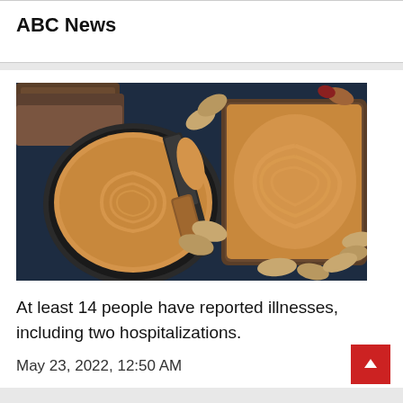ABC News
[Figure (photo): Overhead view of peanut butter in a bowl, a knife with peanut butter spread on it, a slice of whole grain bread covered with peanut butter, and scattered peanuts on a dark background]
At least 14 people have reported illnesses, including two hospitalizations.
May 23, 2022, 12:50 AM